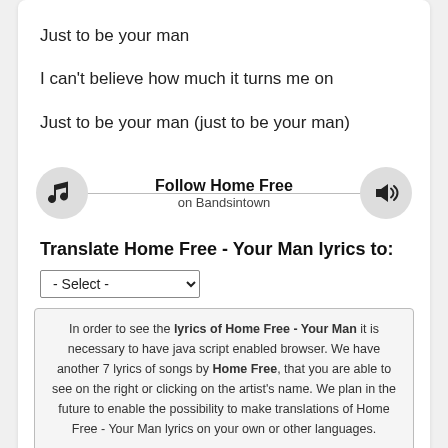Just to be your man
I can't believe how much it turns me on
Just to be your man (just to be your man)
[Figure (other): Follow Home Free on Bandsintown widget with music note icon on left and speaker icon on right connected by a horizontal line]
Translate Home Free - Your Man lyrics to:
- Select -
In order to see the lyrics of Home Free - Your Man it is necessary to have java script enabled browser. We have another 7 lyrics of songs by Home Free, that you are able to see on the right or clicking on the artist's name. We plan in the future to enable the possibility to make translations of Home Free - Your Man lyrics on your own or other languages.

Example: To see English translation for the Home Free - Your Man lyrics please choose from the dropdown list English.
Search